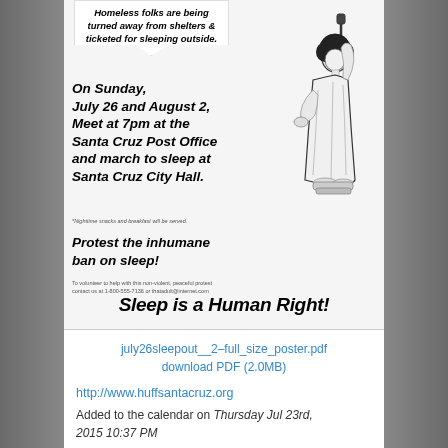[Figure (illustration): Protest flyer showing a Black woman styled as the Statue of Liberty holding a torch, with speech bubble text about homeless people being turned away from shelters and ticketed for sleeping outside. Text includes event details for July 26 and August 2 sleepout at Santa Cruz City Hall.]
Sleep is a Human Right!
july26sleepout__2–full_size_poster.pdf
download PDF (2.0MB)
http://www.huffsantacruz.org
Added to the calendar on Thursday Jul 23rd, 2015 10:37 PM